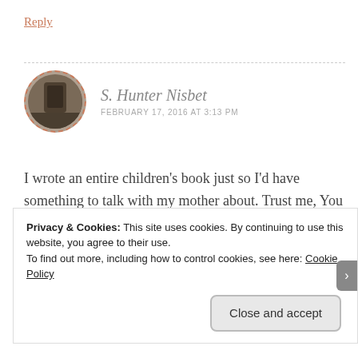Reply
[Figure (photo): Circular avatar photo of S. Hunter Nisbet with dashed red-orange border, showing a dark silhouetted figure against a textured background]
S. Hunter Nisbet
FEBRUARY 17, 2016 AT 3:13 PM
I wrote an entire children’s book just so I’d have something to talk with my mother about. Trust me, You have all of my sympathy!
★ Liked by 1 person
Privacy & Cookies: This site uses cookies. By continuing to use this website, you agree to their use.
To find out more, including how to control cookies, see here: Cookie Policy
Close and accept